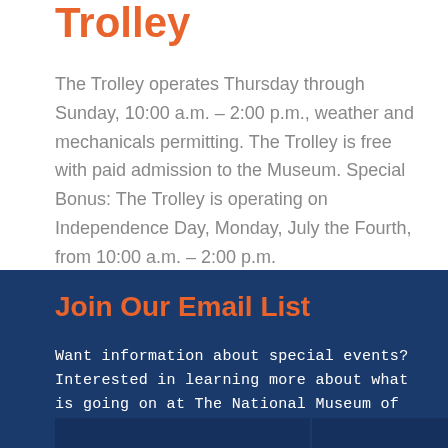Trolley
The Trolley operates Thursday through Sunday, 10:00 a.m. – 2:00 p.m., weather and mechanicals permitting. The Trolley is free with paid admission to the Museum. Special Bonus: The Trolley is operating on Independence Day, Monday, July the Fourth, from 10:00 a.m. – 2:00 p.m.
Join Our Email List
Want information about special events? Interested in learning more about what is going on at The National Museum of Transportation?